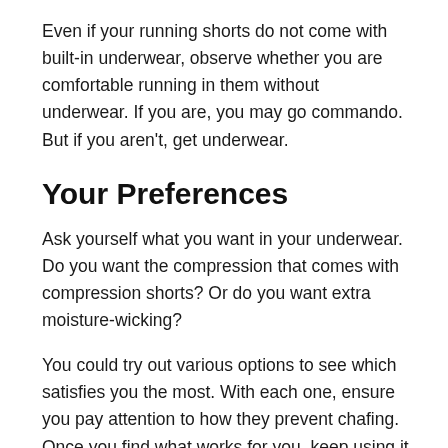Even if your running shorts do not come with built-in underwear, observe whether you are comfortable running in them without underwear. If you are, you may go commando. But if you aren't, get underwear.
Your Preferences
Ask yourself what you want in your underwear. Do you want the compression that comes with compression shorts? Or do you want extra moisture-wicking?
You could try out various options to see which satisfies you the most. With each one, ensure you pay attention to how they prevent chafing. Once you find what works for you, keep using it until you find